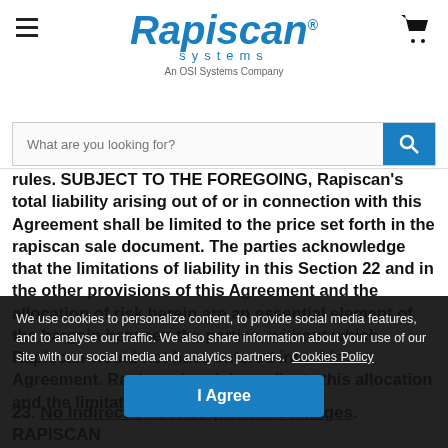Rapiscan Systems — An OSI Systems Company
rules.  SUBJECT TO THE FOREGOING, Rapiscan's total liability arising out of or in connection with this Agreement shall be limited to the price set forth in the rapiscan sale document.  The parties acknowledge that the limitations of liability in this Section 22 and in the other provisions of this Agreement and the allocation of risk herein are an essential element of the bargain between the parties, without which Rapiscan would not have entered into this Agreement. Rapiscan's pricing reflects this allocation and the limitation of liability spec
We use cookies to personalize content, to provide social media features, and to analyse our traffic. We also share information about your use of our site with our social media and analytics partners.  Cookies Policy
23.  No Indirect or Consequential Damages.  RAPISCAN